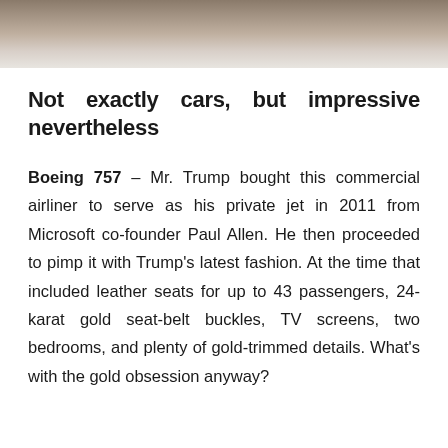[Figure (photo): Partial view of a vehicle or aircraft, cropped at top of page, showing undercarriage/bottom portion on a light surface]
Not exactly cars, but impressive nevertheless
Boeing 757 – Mr. Trump bought this commercial airliner to serve as his private jet in 2011 from Microsoft co-founder Paul Allen. He then proceeded to pimp it with Trump's latest fashion. At the time that included leather seats for up to 43 passengers, 24-karat gold seat-belt buckles, TV screens, two bedrooms, and plenty of gold-trimmed details. What's with the gold obsession anyway?